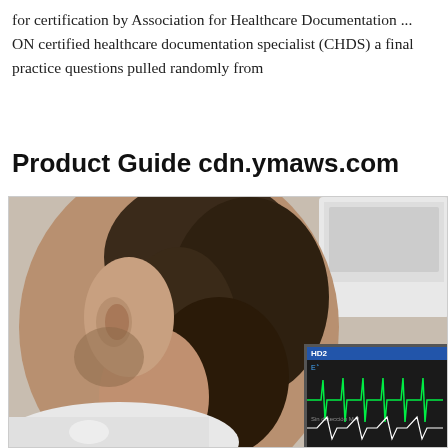for certification by Association for Healthcare Documentation ... ON certified healthcare documentation specialist (CHDS) a final practice questions pulled randomly from
Product Guide cdn.ymaws.com
[Figure (photo): Side profile photo of a man with curly hair and beard, with ECG/cardiac monitor screen visible in the background showing green waveform traces.]